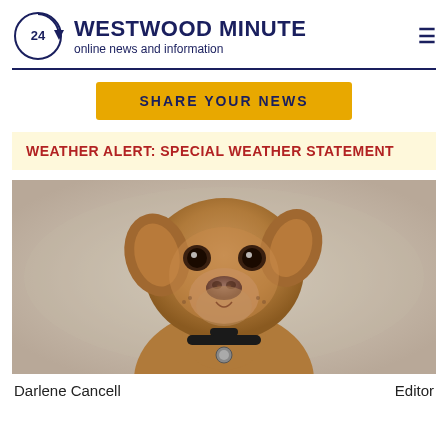WESTWOOD MINUTE online news and information
SHARE YOUR NEWS
WEATHER ALERT: SPECIAL WEATHER STATEMENT
[Figure (photo): Close-up photo of a brown/tan puppy wearing a black harness, looking directly at the camera, with a soft blurred background]
Darlene Cancell    Editor